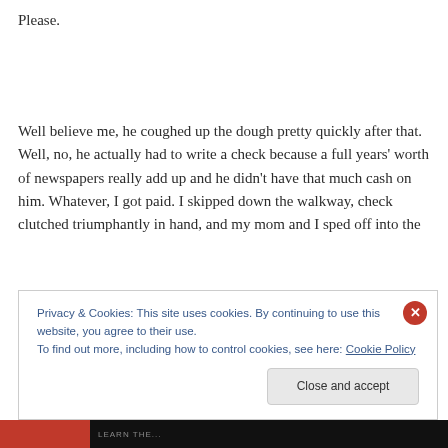Please.
Well believe me, he coughed up the dough pretty quickly after that. Well, no, he actually had to write a check because a full years' worth of newspapers really add up and he didn't have that much cash on him. Whatever, I got paid. I skipped down the walkway, check clutched triumphantly in hand, and my mom and I sped off into the
Privacy & Cookies: This site uses cookies. By continuing to use this website, you agree to their use.
To find out more, including how to control cookies, see here: Cookie Policy
Close and accept